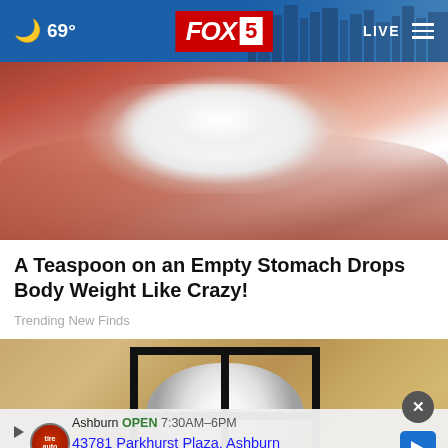🌙 69° | FOX 5 | LIVE
[Figure (photo): Close-up photo of salt crystals or white granules in a human hand/palm]
A Teaspoon on an Empty Stomach Drops Body Weight Like Crazy!
Trending New Finds
[Figure (photo): Outdoor wall lamp with black metal frame mounted on stucco/stone wall]
Ashburn OPEN 7:30AM-6PM
43781 Parkhurst Plaza, Ashburn
Save Up to $100 on Broken S...